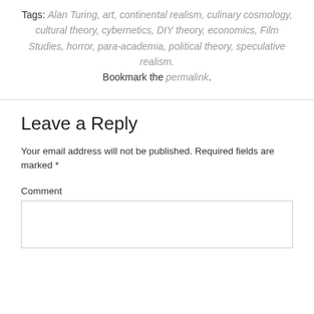Tags: Alan Turing, art, continental realism, culinary cosmology, cultural theory, cybernetics, DIY theory, economics, Film Studies, horror, para-academia, political theory, speculative realism. Bookmark the permalink.
Leave a Reply
Your email address will not be published. Required fields are marked *
Comment